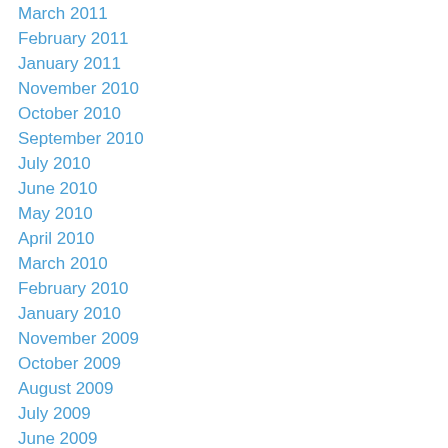March 2011
February 2011
January 2011
November 2010
October 2010
September 2010
July 2010
June 2010
May 2010
April 2010
March 2010
February 2010
January 2010
November 2009
October 2009
August 2009
July 2009
June 2009
May 2009
March 2009